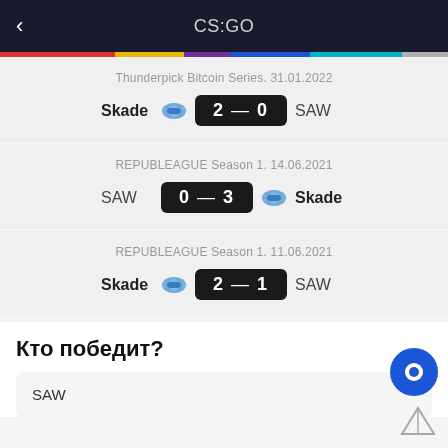CS:GO
Thunderpick Bitcoin Series. 31.01.2022
Skade 2 — 0 SAW
REPUBLEAGUE Season 1. 14.06.2021
SAW 0 — 3 Skade
REPUBLEAGUE Season 1. 11.06.2021
Skade 2 — 1 SAW
Кто победит?
SAW